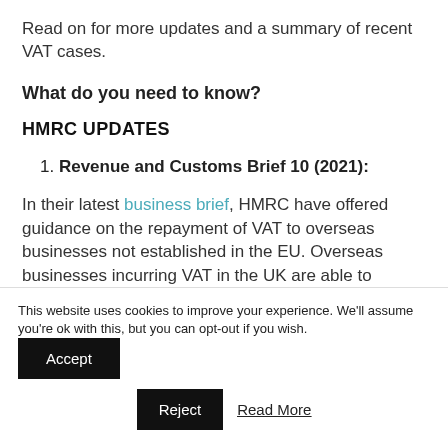Read on for more updates and a summary of recent VAT cases.
What do you need to know?
HMRC UPDATES
1. Revenue and Customs Brief 10 (2021):
In their latest business brief, HMRC have offered guidance on the repayment of VAT to overseas businesses not established in the EU. Overseas businesses incurring VAT in the UK are able to
This website uses cookies to improve your experience. We'll assume you're ok with this, but you can opt-out if you wish.